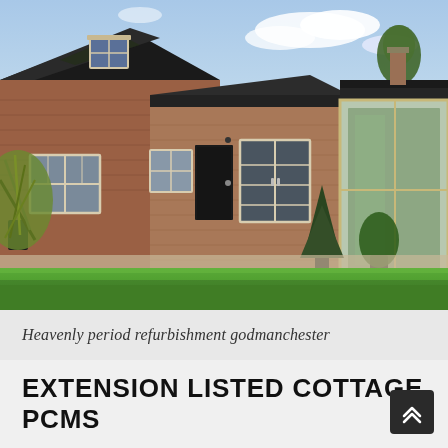[Figure (photo): Exterior photograph of a period brick cottage with dark slate roof, dormer window, white-framed French doors and windows, glass extension on the right side, potted plants and trees on a gravel terrace, and a bright green lawn in the foreground under a blue sky.]
Heavenly period refurbishment godmanchester
EXTENSION LISTED COTTAGE PCMS